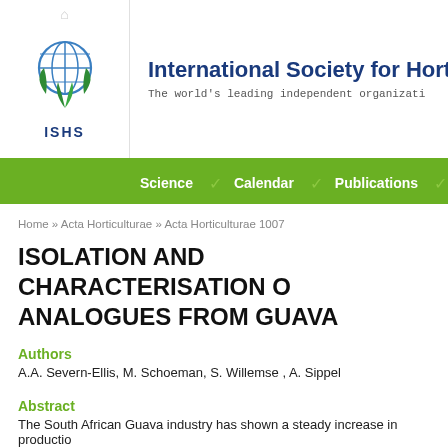[Figure (logo): ISHS logo with globe and green leaves, text ISHS below]
International Society for Horticultu...
The world's leading independent organizati...
Science / Calendar / Publications / Membersh...
Home » Acta Horticulturae » Acta Horticulturae 1007
ISOLATION AND CHARACTERISATION O... ANALOGUES FROM GUAVA
Authors
A.A. Severn-Ellis, M. Schoeman, S. Willemse , A. Sippel
Abstract
The South African Guava industry has shown a steady increase in productio... puree. Renewed outbreaks of guava wilt disease in the Limpopo and Mpuma...